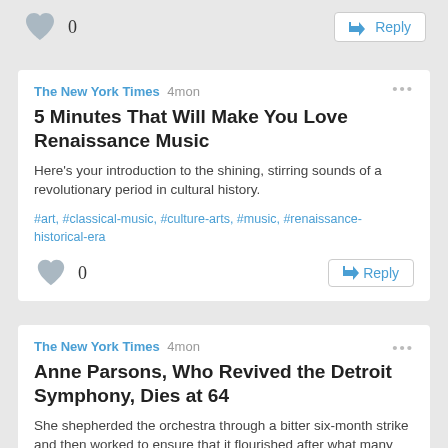[Figure (illustration): Heart like icon with count 0 and Reply button in top strip]
The New York Times 4mon
5 Minutes That Will Make You Love Renaissance Music
Here's your introduction to the shining, stirring sounds of a revolutionary period in cultural history.
#art, #classical-music, #culture-arts, #music, #renaissance-historical-era
0  Reply
The New York Times 4mon
Anne Parsons, Who Revived the Detroit Symphony, Dies at 64
She shepherded the orchestra through a bitter six-month strike and then worked to ensure that it flourished after what many considered a near-death moment.
#classical-music, #deaths-obituaries, #detroit-mich, #detroit-symphony-orchestra, #parsons-anne-1957-2022, #strikes
0  Reply